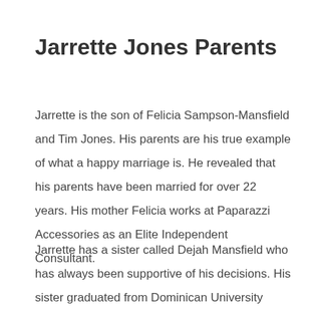Jarrette Jones Parents
Jarrette is the son of Felicia Sampson-Mansfield and Tim Jones. His parents are his true example of what a happy marriage is. He revealed that his parents have been married for over 22 years. His mother Felicia works at Paparazzi Accessories as an Elite Independent Consultant.
Jarrette has a sister called Dejah Mansfield who has always been supportive of his decisions. His sister graduated from Dominican University where she studied fashion design &